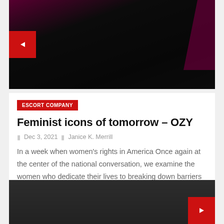[Figure (photo): Black and white photo of two women against a pink and dark background, top of article image]
ESCORT COMPANY
Feminist icons of tomorrow – OZY
Dec 3, 2021   Janice K. Merrill
In a week when women's rights in America Once again at the center of the national conversation, we examine the women who dedicate their lives to breaking down barriers and...
[Figure (photo): Dark grey/black image at the bottom, partially visible]